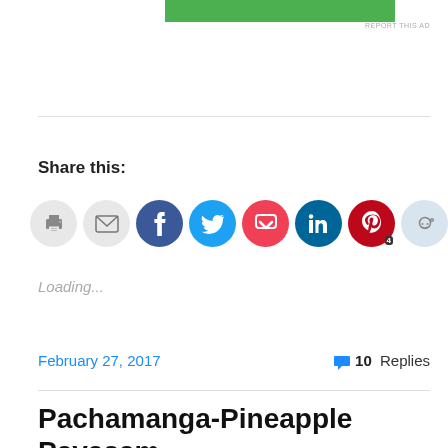[Figure (other): Green advertisement banner at top]
REPORT THIS AD
Share this:
[Figure (infographic): Row of social share icons: print, email, Facebook, Twitter, Pocket, LinkedIn, Pinterest (4), Reddit, Tumblr, print/press]
Loading...
February 27, 2017
10 Replies
Pachamanga-Pineapple Payasam
2 Votes